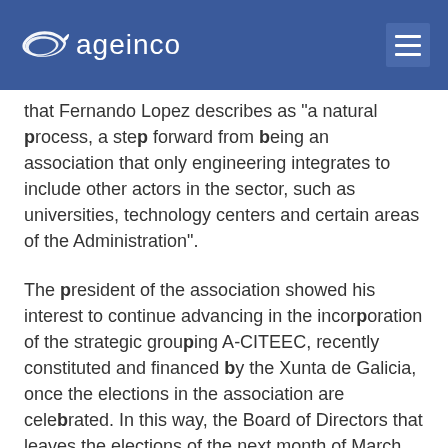[Figure (logo): Ageinco logo with stylized blue fish/wave icon on dark blue header bar, with hamburger menu icon on the right]
that Fernando Lopez describes as "a natural process, a step forward from being an association that only engineering integrates to include other actors in the sector, such as universities, technology centers and certain areas of the Administration".
The president of the association showed his interest to continue advancing in the incorporation of the strategic grouping A-CITEEC, recently constituted and financed by the Xunta de Galicia, once the elections in the association are celebrated. In this way, the Board of Directors that leaves the elections of the next month of March will be in charge of undertaking the necessary